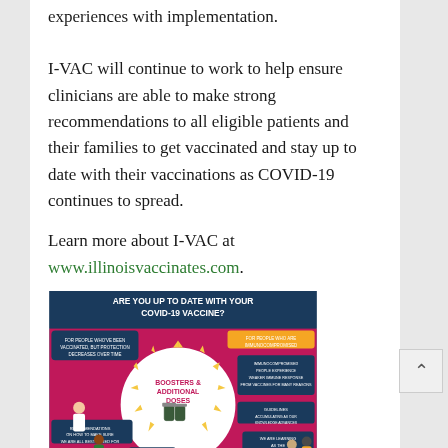experiences with implementation.
I-VAC will continue to work to help ensure clinicians are able to make strong recommendations to all eligible patients and their families to get vaccinated and stay up to date with their vaccinations as COVID-19 continues to spread.
Learn more about I-VAC at www.illinoisvaccinates.com.
[Figure (infographic): Infographic titled 'Are you up to date with your COVID-19 vaccine?' featuring information about Boosters & Additional Doses, with details for people who've been vaccinated, people who are immunocompromised, guidelines, mix & match vaccine brands, and being vaccinated is the best way to protect yourself.]